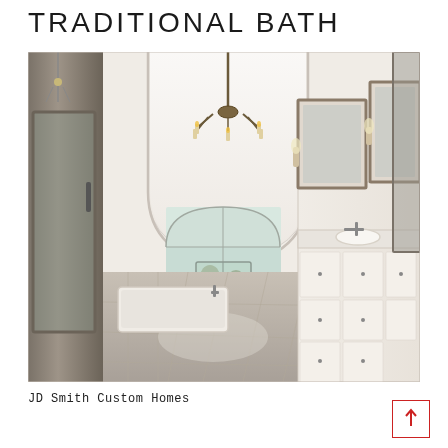TRADITIONAL BATH
[Figure (photo): Interior photo of a luxury traditional bathroom featuring a barrel-vaulted ceiling, large chandelier with candle-style lights, marble tile floor, freestanding soaking tub, arched windows, white cabinetry with vessel sinks, framed mirrors, and wall sconces. The space is bright, airy, and elegant.]
JD Smith Custom Homes